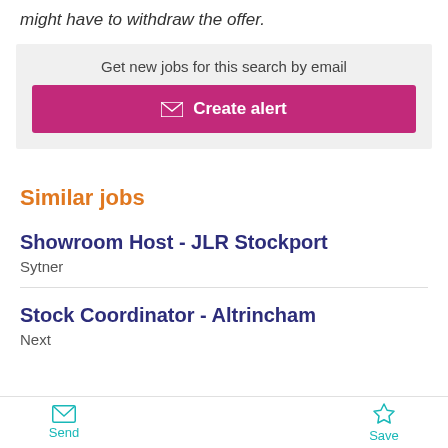might have to withdraw the offer.
Get new jobs for this search by email
✉ Create alert
Similar jobs
Showroom Host - JLR Stockport
Sytner
Stock Coordinator - Altrincham
Next
Send   Save